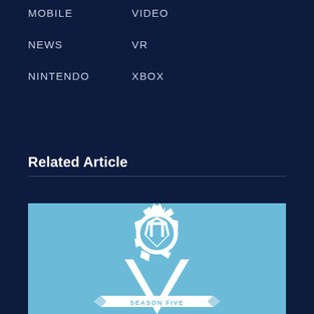MOBILE
NEWS
NINTENDO
VIDEO
VR
XBOX
Related Article
[Figure (logo): World of Tanks Season Five logo on a light blue background, featuring a gear/shield emblem with WoT initials and a large V with 'SEASON FIVE' banner text in white]